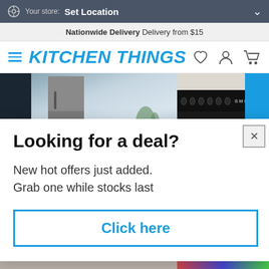Your store: Set Location
Nationwide Delivery  Delivery from $15
KITCHEN THINGS
[Figure (screenshot): Hero banner showing a stainless steel refrigerator in a modern kitchen on the left, and a black gas range cooktop on the right with a blue accent corner]
Looking for a deal?
New hot offers just added.
Grab one while stocks last
Click here